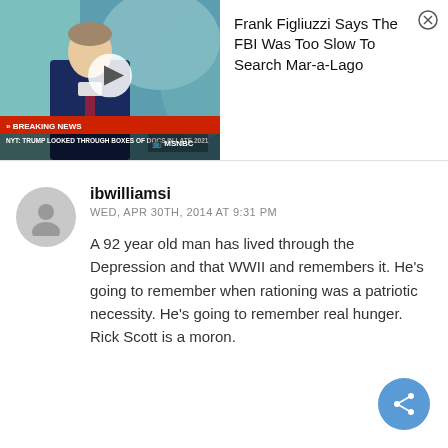[Figure (screenshot): MSNBC news video thumbnail showing a man in a suit on a news broadcast. Lower third text reads: BREAKING NEWS / NYT: TRUMP LOOKED THROUGH BOXES OF DOCS IN LATE 2021. MSNBC logo visible. Play button overlay present.]
Frank Figliuzzi Says The FBI Was Too Slow To Search Mar-a-Lago
[Figure (illustration): Grey circular avatar placeholder with a generic person silhouette icon]
ibwilliamsi
WED, APR 30TH, 2014 AT 9:31 PM
A 92 year old man has lived through the Depression and that WWII and remembers it. He's going to remember when rationing was a patriotic necessity. He's going to remember real hunger. Rick Scott is a moron.